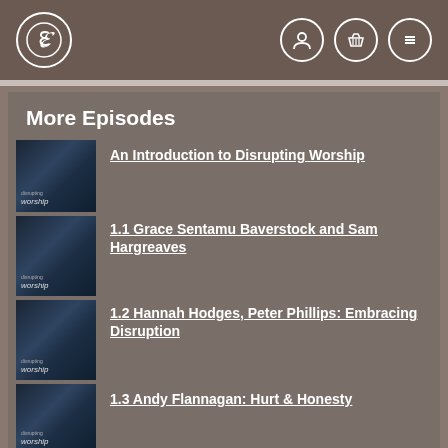[Figure (logo): Circular logo with decorative E letter on dark taupe nav bar]
Navigation bar with logo and icons for user, basket, and menu
More Episodes
An Introduction to Disrupting Worship
1.1 Grace Sentamu Baverstock and Sam Hargreaves
1.2 Hannah Hodges, Peter Phillips: Embracing Disruption
1.3 Andy Flannagan: Hurt & Honesty
1.5 Jeremy Williams, Sara Hargreaves: Outdoor Worship
1.6 Karen Campbell: Multicultural Disruption